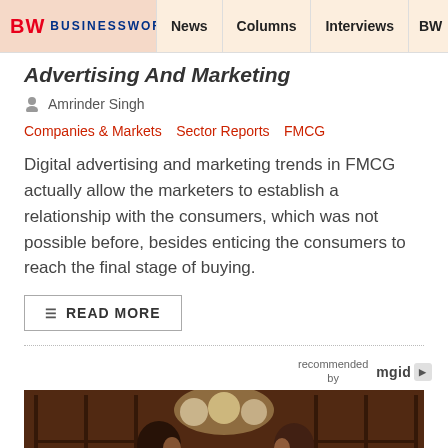BW BUSINESSWORLD  News  Columns  Interviews  BW
Advertising And Marketing
Amrinder Singh
Companies & Markets  Sector Reports  FMCG
Digital advertising and marketing trends in FMCG actually allow the marketers to establish a relationship with the consumers, which was not possible before, besides enticing the consumers to reach the final stage of buying.
READ MORE
[Figure (photo): Two people facing each other closely in a dimly lit room with chandelier lights in background]